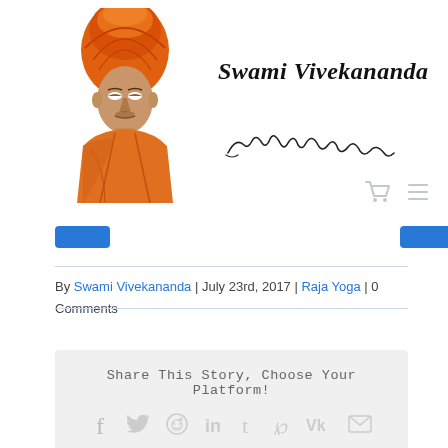[Figure (illustration): Portrait illustration of Swami Vivekananda in orange robes and turban]
Swami Vivekananda
[Figure (illustration): Handwritten signature of Swami Vivekananda]
[Figure (illustration): Navigation bar with blue tab buttons and cart/menu icons]
By Swami Vivekananda | July 23rd, 2017 | Raja Yoga | 0 Comments
Share This Story, Choose Your Platform!